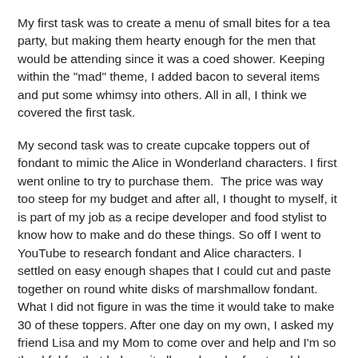My first task was to create a menu of small bites for a tea party, but making them hearty enough for the men that would be attending since it was a coed shower. Keeping within the "mad" theme, I added bacon to several items and put some whimsy into others. All in all, I think we covered the first task.
My second task was to create cupcake toppers out of fondant to mimic the Alice in Wonderland characters. I first went online to try to purchase them.  The price was way too steep for my budget and after all, I thought to myself, it is part of my job as a recipe developer and food stylist to know how to make and do these things. So off I went to YouTube to research fondant and Alice characters. I settled on easy enough shapes that I could cut and paste together on round white disks of marshmallow fondant. What I did not figure in was the time it would take to make 30 of these toppers. After one day on my own, I asked my friend Lisa and my Mom to come over and help and I'm so thankful for that help as it allowed each of us to add our own artistic touch and style on each one that we made.
It was nice to have the fondant toppers made, dried and